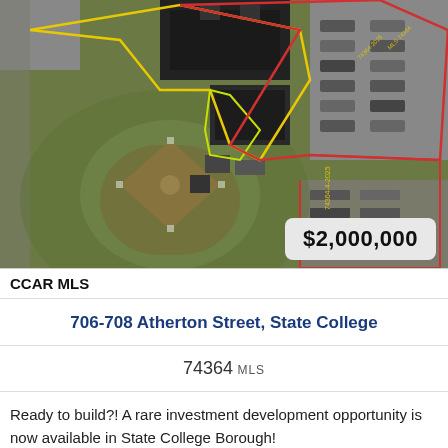[Figure (photo): Aerial satellite view of a property at 706-708 Atherton Street, State College, showing a baseball/softball field, parking lots, buildings, and property boundary lines overlaid in red and yellow.]
$2,000,000
CCAR MLS
706-708 Atherton Street, State College
74364 MLS
Ready to build?! A rare investment development opportunity is now available in State College Borough!